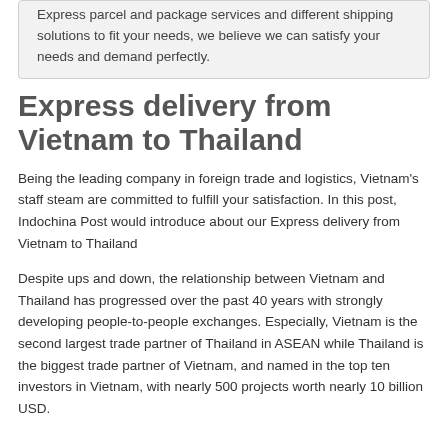Express parcel and package services and different shipping solutions to fit your needs, we believe we can satisfy your needs and demand perfectly.
Express delivery from Vietnam to Thailand
Being the leading company in foreign trade and logistics, Vietnam's staff steam are committed to fulfill your satisfaction. In this post, Indochina Post would introduce about our Express delivery from Vietnam to Thailand
Despite ups and down, the relationship between Vietnam and Thailand has progressed over the past 40 years with strongly developing people-to-people exchanges. Especially, Vietnam is the second largest trade partner of Thailand in ASEAN while Thailand is the biggest trade partner of Vietnam, and named in the top ten investors in Vietnam, with nearly 500 projects worth nearly 10 billion USD.